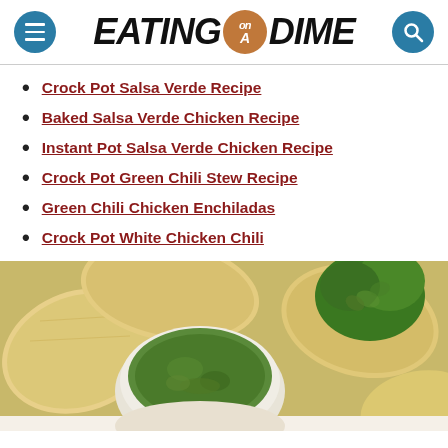EATING on a DIME
Crock Pot Salsa Verde Recipe
Baked Salsa Verde Chicken Recipe
Instant Pot Salsa Verde Chicken Recipe
Crock Pot Green Chili Stew Recipe
Green Chili Chicken Enchiladas
Crock Pot White Chicken Chili
[Figure (photo): A bowl of green salsa verde surrounded by tortilla chips and fresh cilantro/parsley, viewed from above and slightly cropped at the bottom.]